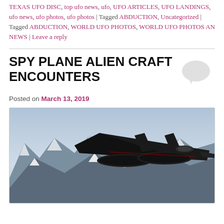TEXAS UFO DISC, top ufo news, ufo, UFO ARTICLES, UFO LANDINGS, ufo news, ufo photos, ufo photos | Tagged ABDUCTION, Uncategorized | Tagged ABDUCTION, WORLD UFO PHOTOS, WORLD UFO PHOTOS AN NEWS | Leave a reply
SPY PLANE ALIEN CRAFT ENCOUNTERS
Posted on March 13, 2019
[Figure (photo): Black SR-71 Blackbird spy plane flying over snow-capped mountain range]